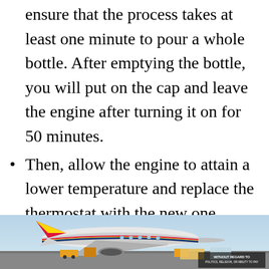ensure that the process takes at least one minute to pour a whole bottle. After emptying the bottle, you will put on the cap and leave the engine after turning it on for 50 minutes.
Then, allow the engine to attain a lower temperature and replace the thermostat with the new one.
Lastly, do not mind topping up
[Figure (photo): Advertisement banner showing a cargo airplane on a tarmac being loaded, with red/yellow/blue livery. Contains text 'WITHOUT REGARD TO POLITICS, RELIGION, OR ABILITY TO PAY' on a dark overlay badge at bottom right.]